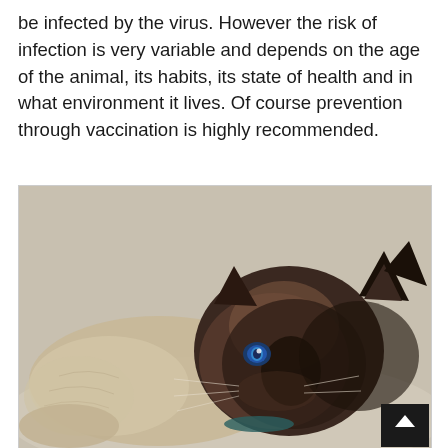be infected by the virus. However the risk of infection is very variable and depends on the age of the animal, its habits, its state of health and in what environment it lives. Of course prevention through vaccination is highly recommended.
[Figure (photo): A Siamese or Birman cat with blue eyes lying down, with dark brown/black face and ears and lighter cream/beige fur on body. The cat is resting on a light-colored surface.]